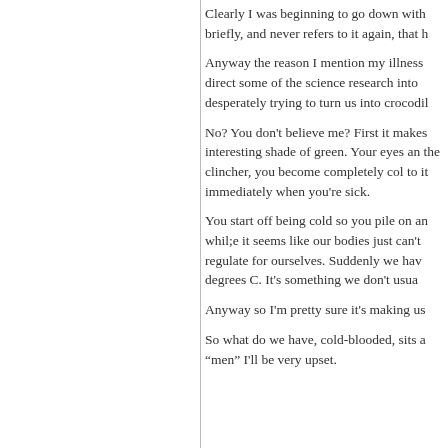Clearly I was beginning to go down with briefly, and never refers to it again, that h
Anyway the reason I mention my illness direct some of the science research into desperately trying to turn us into crocodil
No? You don't believe me? First it makes interesting shade of green. Your eyes an the clincher, you become completely col to it immediately when you're sick.
You start off being cold so you pile on an whil;e it seems like our bodies just can't regulate for ourselves. Suddenly we hav degrees C. It's something we don't usua
Anyway so I'm pretty sure it's making us
So what do we have, cold-blooded, sits a “men” I'll be very upset.